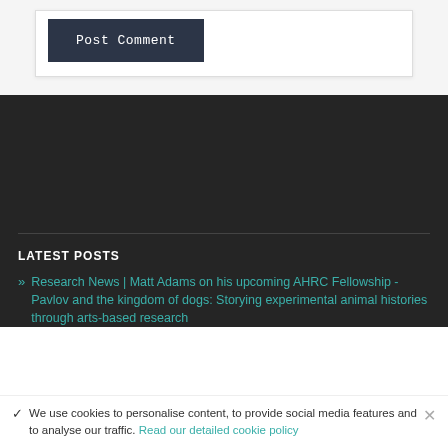Post Comment
LATEST POSTS
Research News | Matt Adams on his upcoming AHRC Fellowship - Pavlov and the kingdom of dogs: Storying experimental animal histories through arts-based research
We use cookies to personalise content, to provide social media features and to analyse our traffic. Read our detailed cookie policy